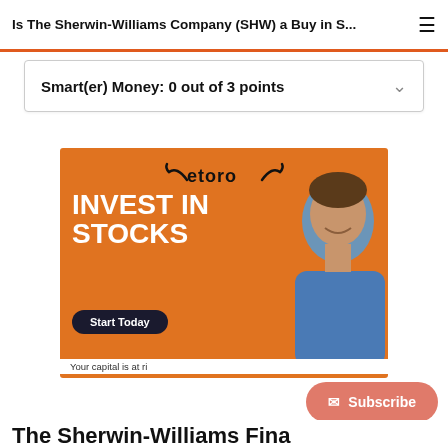Is The Sherwin-Williams Company (SHW) a Buy in S...
Smart(er) Money: 0 out of 3 points
[Figure (illustration): eToro advertisement banner with orange background showing 'INVEST IN STOCKS' text, a smiling man in blue sweater, eToro logo at top, 'Start Today' button, and 'Your capital is at risk' disclaimer at the bottom.]
[Figure (other): Subscribe button with envelope icon in salmon/pink color]
The Sherwin-Williams Fina...